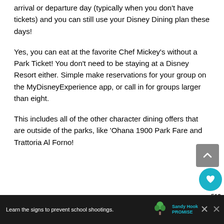arrival or departure day (typically when you don't have tickets) and you can still use your Disney Dining plan these days!
Yes, you can eat at the favorite Chef Mickey's without a Park Ticket! You don't need to be staying at a Disney Resort either. Simple make reservations for your group on the MyDisneyExperience app, or call in for groups larger than eight.
This includes all of the other character dining offers that are outside of the parks, like 'Ohana 1900 Park Fare and Trattoria Al Forno!